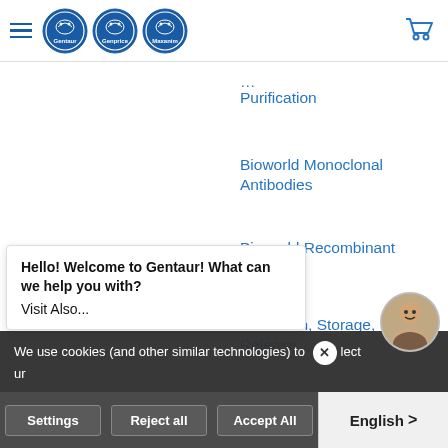Gentaur / Genprice / Maxanim logos and navigation header
Purification
Bioworld Monoclonal Antibodies
Bioworld Recombinant Protein
Collection, Storage, Release
DNA Clean-Up
We use cookies (and other similar technologies) to collect … ur
Hello! Welcome to Gentaur! What can we help you with?
Visit Also...
Settings  Reject all  Accept All
English >